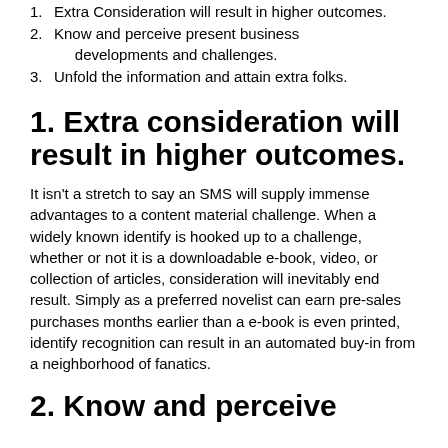1. Extra Consideration will result in higher outcomes.
2. Know and perceive present business developments and challenges.
3. Unfold the information and attain extra folks.
1. Extra consideration will result in higher outcomes.
It isn't a stretch to say an SMS will supply immense advantages to a content material challenge. When a widely known identify is hooked up to a challenge, whether or not it is a downloadable e-book, video, or collection of articles, consideration will inevitably end result. Simply as a preferred novelist can earn pre-sales purchases months earlier than a e-book is even printed, identify recognition can result in an automated buy-in from a neighborhood of fanatics.
2. Know and perceive